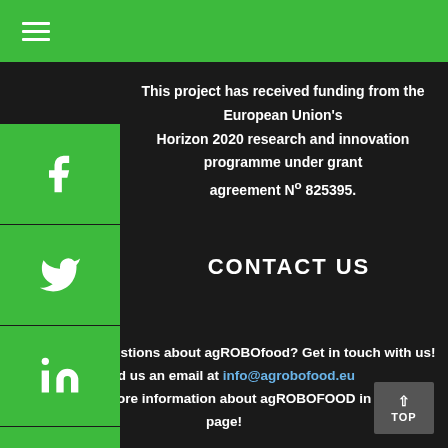[Figure (other): Green top navigation bar with hamburger menu icon (three white horizontal lines)]
[Figure (other): Facebook icon on green square button]
[Figure (other): Twitter icon on green square button]
[Figure (other): LinkedIn icon on green square button]
[Figure (other): YouTube icon on green square button]
This project has received funding from the European Union's Horizon 2020 research and innovation programme under grant agreement N° 825395.
CONTACT US
Do you have questions about agROBOfood? Get in touch with us! Send us an email at info@agrobofood.eu You can find more information about agROBOFOOD in the FAQ page!